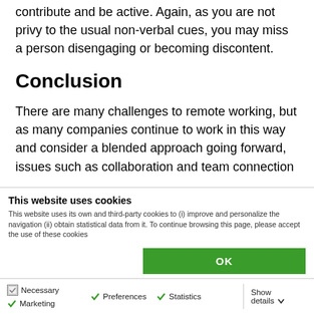contribute and be active. Again, as you are not privy to the usual non-verbal cues, you may miss a person disengaging or becoming discontent.
Conclusion
There are many challenges to remote working, but as many companies continue to work in this way and consider a blended approach going forward, issues such as collaboration and team connection
This website uses cookies
This website uses its own and third-party cookies to (i) improve and personalize the navigation (ii) obtain statistical data from it. To continue browsing this page, please accept the use of these cookies
OK
Necessary Preferences Statistics Marketing Show details